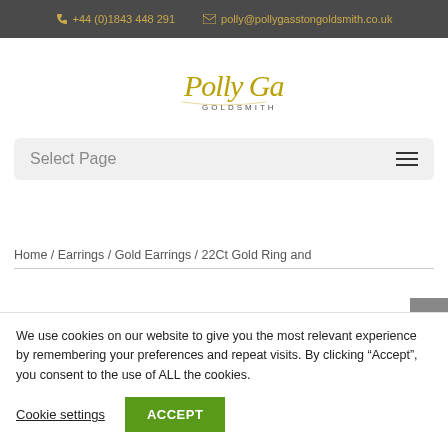+44 (0)1843 448 291   polly@pollygasstongoldsmith.co.uk
[Figure (logo): Polly Gasston Goldsmith handwritten script logo]
Select Page
Home / Earrings / Gold Earrings / 22Ct Gold Ring and
We use cookies on our website to give you the most relevant experience by remembering your preferences and repeat visits. By clicking “Accept”, you consent to the use of ALL the cookies.
Cookie settings   ACCEPT